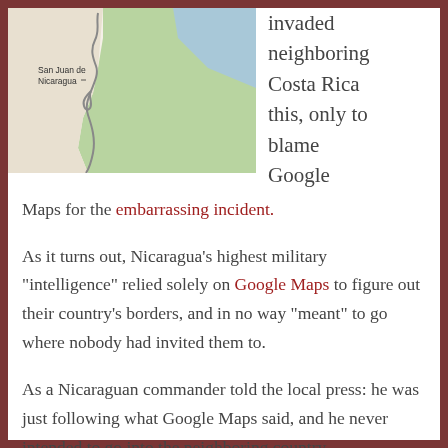[Figure (map): A map showing the San Juan de Nicaragua area, with a winding river/border line between beige land, green area, and blue water regions.]
invaded neighboring Costa Rica this, only to blame Google Maps for the embarrassing incident.
As it turns out, Nicaragua’s highest military “intelligence” relied solely on Google Maps to figure out their country’s borders, and in no way “meant” to go where nobody had invited them to.
As a Nicaraguan commander told the local press: he was just following what Google Maps said, and he never intended to go into the neighboring country.